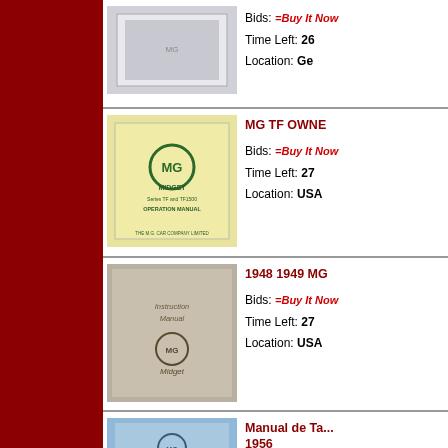[Figure (photo): Thumbnail of a book/manual with plain cover]
Bids: =Buy It Now
Time Left: 26
Location: Ge
[Figure (photo): MG Midget Operation Manual with yellow cover showing MG logo]
MG TF OWNE
Bids: =Buy It Now
Time Left: 27
Location: USA
[Figure (photo): 1948 1949 MG Midget Instruction Manual with tan/brown cover]
1948 1949 MG
Bids: =Buy It Now
Time Left: 27
Location: USA
[Figure (photo): Manual de Taller 1956 with blue cover showing MG Midget logo]
Manual de Ta... 1956